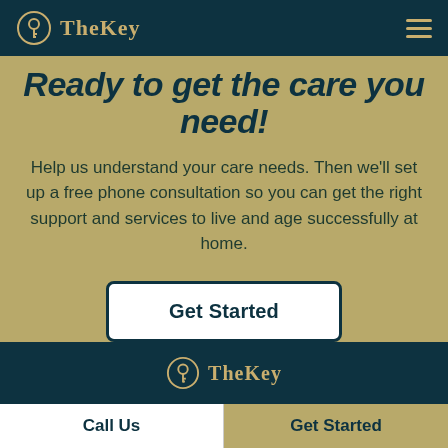TheKey
Ready to get the care you need!
Help us understand your care needs. Then we'll set up a free phone consultation so you can get the right support and services to live and age successfully at home.
Get Started
[Figure (logo): TheKey logo with keyhole icon in gold/dark teal color scheme]
Call Us
Get Started